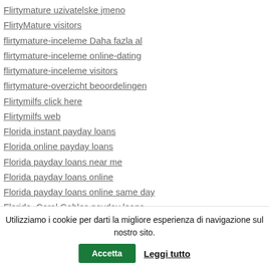Flirtymature uzivatelske jmeno
FlirtyMature visitors
flirtymature-inceleme Daha fazla al
flirtymature-inceleme online-dating
flirtymature-inceleme visitors
flirtymature-overzicht beoordelingen
Flirtymilfs click here
Flirtymilfs web
Florida instant payday loans
Florida online payday loans
Florida payday loans near me
Florida payday loans online
Florida payday loans online same day
Florida_Coral Gables payday loans
Florida_Dade City payday loans
Florida_Gainesville payday loans
Utilizziamo i cookie per darti la migliore esperienza di navigazione sul nostro sito. Accetta  Leggi tutto